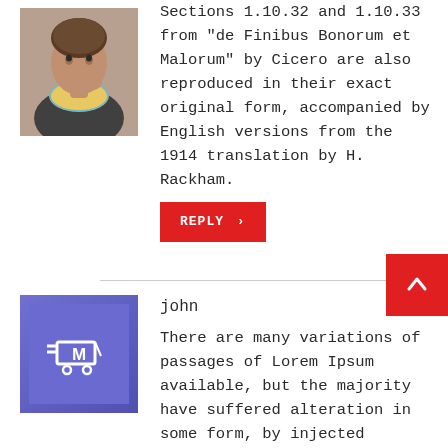Sections 1.10.32 and 1.10.33 from "de Finibus Bonorum et Malorum" by Cicero are also reproduced in their exact original form, accompanied by English versions from the 1914 translation by H. Rackham.
[Figure (photo): Person photo - portrait of a person wearing a patterned scarf]
[Figure (logo): Blue square with a shopping cart icon containing letter M]
john
There are many variations of passages of Lorem Ipsum available, but the majority have suffered alteration in some form, by injected